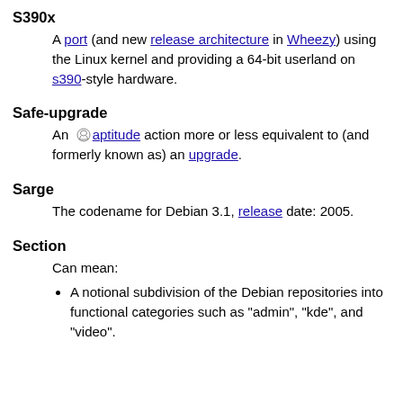S390x
A port (and new release architecture in Wheezy) using the Linux kernel and providing a 64-bit userland on s390-style hardware.
Safe-upgrade
An aptitude action more or less equivalent to (and formerly known as) an upgrade.
Sarge
The codename for Debian 3.1, release date: 2005.
Section
Can mean:
A notional subdivision of the Debian repositories into functional categories such as "admin", "kde", and "video".